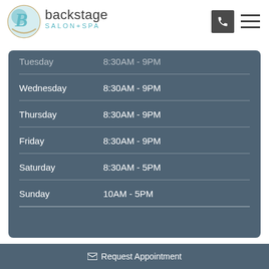[Figure (logo): Backstage Salon + Spa logo with circular swirl icon and text]
| Day | Hours |
| --- | --- |
| Tuesday | 8:30AM - 9PM |
| Wednesday | 8:30AM - 9PM |
| Thursday | 8:30AM - 9PM |
| Friday | 8:30AM - 9PM |
| Saturday | 8:30AM - 5PM |
| Sunday | 10AM - 5PM |
✉ Request Appointment